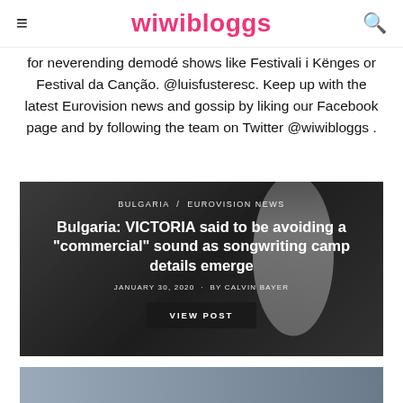wiwibloggs
for neverending demodé shows like Festivali i Kënges or Festival da Canção. @luisfusteresc. Keep up with the latest Eurovision news and gossip by liking our Facebook page and by following the team on Twitter @wiwibloggs .
[Figure (photo): Article card with dark background showing a person, with overlaid text about Bulgaria: VICTORIA said to be avoiding a commercial sound as songwriting camp details emerge, dated January 30, 2020 by Calvin Bayer, with a VIEW POST button]
[Figure (photo): Partial view of a second article card at the bottom of the page]